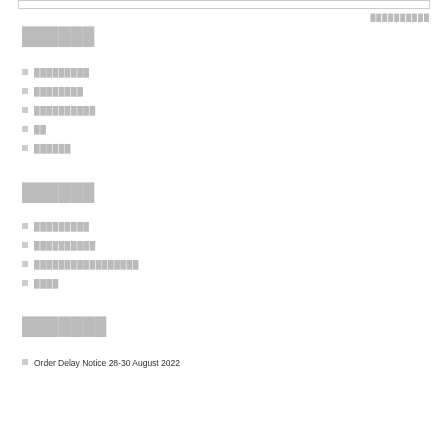██████████
██████
█████████
████████
██████████
██
██████
██████
█████████
██████████
█████████████████
████
███████
Order Delay Notice 28-30 August 2022